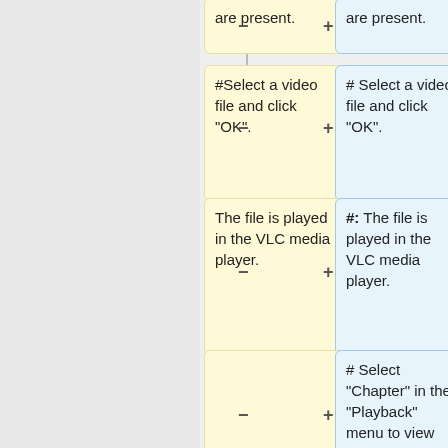[Figure (flowchart): A diff/comparison flowchart showing two parallel columns of steps. Left column has yellow boxes, right column has blue boxes. Each row is connected by minus (left) and plus (right) connector symbols on a vertical line. Content shows steps for selecting a video file, playing it in VLC, and selecting a chapter from Playback menu.]